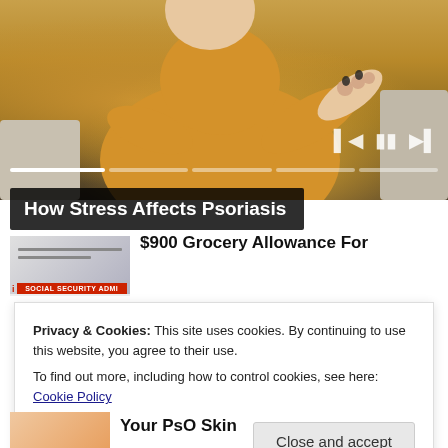[Figure (photo): Woman in yellow sweater sitting on sofa scratching her arm/elbow, video player interface with progress bar and playback controls visible]
How Stress Affects Psoriasis
[Figure (photo): Social Security Administration document thumbnail advertisement]
$900 Grocery Allowance For
Privacy & Cookies: This site uses cookies. By continuing to use this website, you agree to their use.
To find out more, including how to control cookies, see here: Cookie Policy
Close and accept
Your PsO Skin